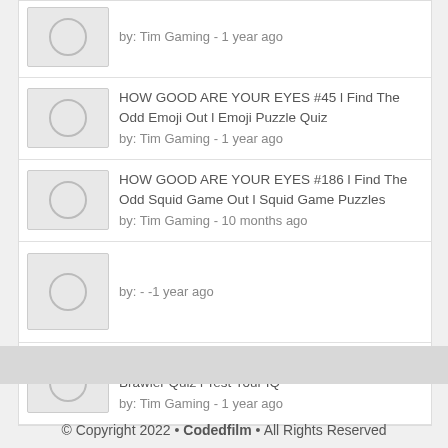by: Tim Gaming - 1 year ago
HOW GOOD ARE YOUR EYES #45 l Find The Odd Emoji Out l Emoji Puzzle Quiz
by: Tim Gaming - 1 year ago
HOW GOOD ARE YOUR EYES #186 l Find The Odd Squid Game Out l Squid Game Puzzles
by: Tim Gaming - 10 months ago
by: - -1 year ago
HOW GOOD ARE YOUR EYES #60 l Guess The Brawler Quiz l Test Your IQ
by: Tim Gaming - 1 year ago
© Copyright 2022 • Codedfilm • All Rights Reserved